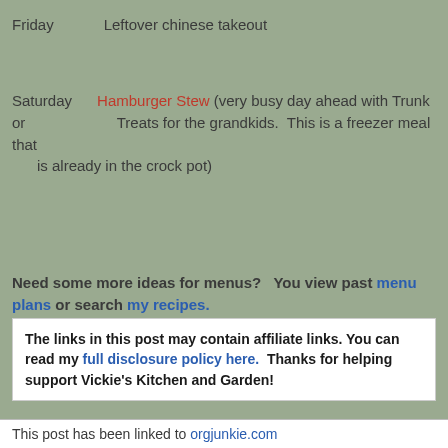Friday        Leftover chinese takeout
Saturday      Hamburger Stew (very busy day ahead with Trunk or                          Treats for the grandkids.  This is a freezer meal that      is already in the crock pot)
Need some more ideas for menus?   You view past menu plans or search my recipes.
The links in this post may contain affiliate links. You can read my full disclosure policy here.  Thanks for helping support Vickie's Kitchen and Garden!
This post has been linked to orgjunkie.com